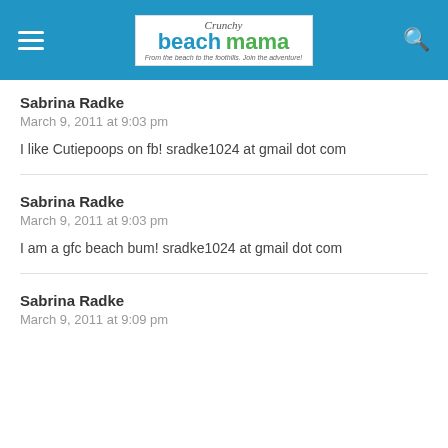[Figure (logo): Crunchy Beach Mama blog logo with blue header bar, hamburger menu icon on left, search icon on right]
Sabrina Radke
March 9, 2011 at 9:03 pm
I like Cutiepoops on fb! sradke1024 at gmail dot com
Sabrina Radke
March 9, 2011 at 9:03 pm
I am a gfc beach bum! sradke1024 at gmail dot com
Sabrina Radke
March 9, 2011 at 9:09 pm